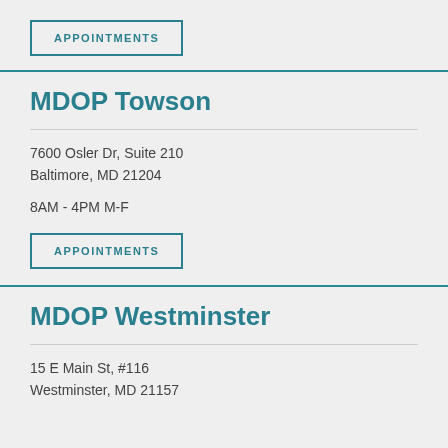APPOINTMENTS
MDOP Towson
7600 Osler Dr, Suite 210
Baltimore, MD 21204
8AM - 4PM M-F
APPOINTMENTS
MDOP Westminster
15 E Main St, #116
Westminster, MD 21157